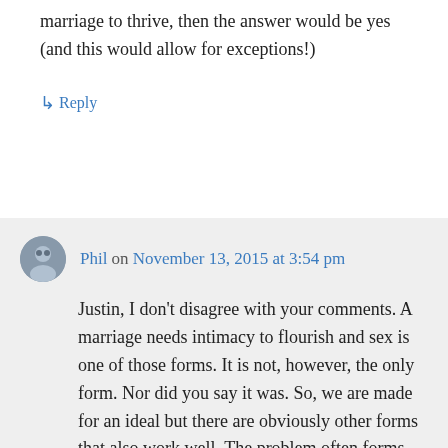marriage to thrive, then the answer would be yes (and this would allow for exceptions!)
↳ Reply
Phil on November 13, 2015 at 3:54 pm
Justin, I don't disagree with your comments. A marriage needs intimacy to flourish and sex is one of those forms. It is not, however, the only form. Nor did you say it was. So, we are made for an ideal but there are obviously other forms that also work well. The problem often forms when one spouse believes more frequent sex = thriving and another finds another form of intimacy as thriving. For that...